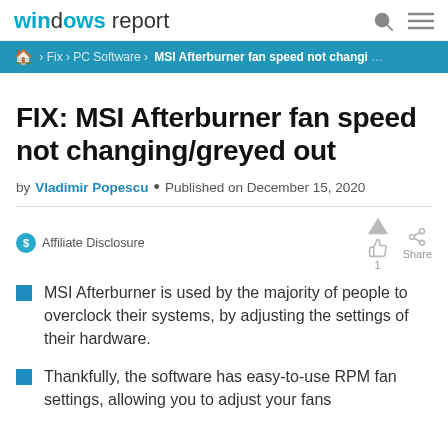windows report
🏠 › Fix › PC Software › MSI Afterburner fan speed not changi…
FIX: MSI Afterburner fan speed not changing/greyed out
by Vladimir Popescu • Published on December 15, 2020
Affiliate Disclosure
MSI Afterburner is used by the majority of people to overclock their systems, by adjusting the settings of their hardware.
Thankfully, the software has easy-to-use RPM fan settings, allowing you to adjust your fans